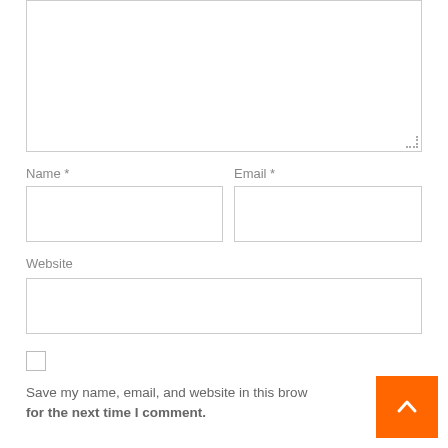[Figure (screenshot): Comment form textarea (top portion, partially visible, with resize handle at bottom-right)]
Name *
[Figure (screenshot): Name input field (empty text box)]
Email *
[Figure (screenshot): Email input field (empty text box)]
Website
[Figure (screenshot): Website input field (empty text box, full width)]
[Figure (screenshot): Checkbox (unchecked)]
Save my name, email, and website in this brow for the next time I comment.
[Figure (screenshot): Back-to-top orange button with upward chevron arrow]